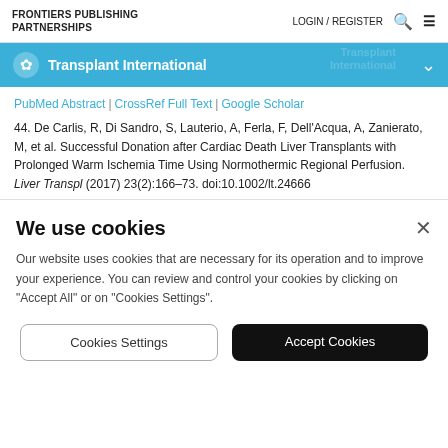FRONTIERS PUBLISHING PARTNERSHIPS | LOGIN / REGISTER
Transplant International
PubMed Abstract | CrossRef Full Text | Google Scholar
44. De Carlis, R, Di Sandro, S, Lauterio, A, Ferla, F, Dell'Acqua, A, Zanierato, M, et al. Successful Donation after Cardiac Death Liver Transplants with Prolonged Warm Ischemia Time Using Normothermic Regional Perfusion. Liver Transpl (2017) 23(2):166–73. doi:10.1002/lt.24666
We use cookies
Our website uses cookies that are necessary for its operation and to improve your experience. You can review and control your cookies by clicking on "Accept All" or on "Cookies Settings".
Cookies Settings | Accept Cookies